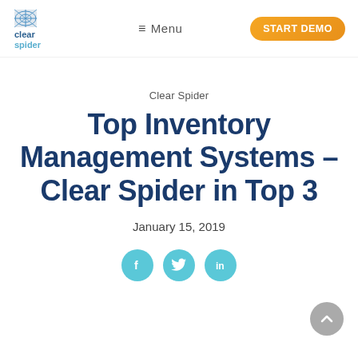[Figure (logo): Clear Spider logo — blue text reading 'clear spider' with spider web graphic]
≡ Menu | START DEMO
Clear Spider
Top Inventory Management Systems – Clear Spider in Top 3
January 15, 2019
[Figure (illustration): Social media icons: Facebook, Twitter, LinkedIn in teal circles]